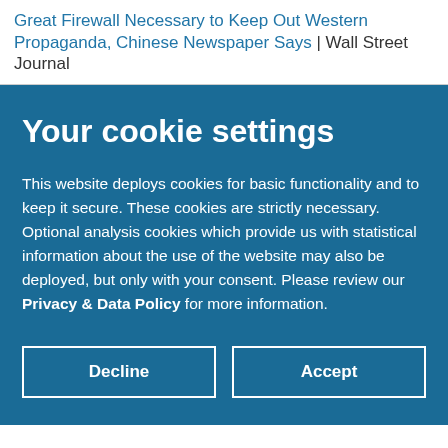Great Firewall Necessary to Keep Out Western Propaganda, Chinese Newspaper Says | Wall Street Journal
Your cookie settings
This website deploys cookies for basic functionality and to keep it secure. These cookies are strictly necessary. Optional analysis cookies which provide us with statistical information about the use of the website may also be deployed, but only with your consent. Please review our Privacy & Data Policy for more information.
Decline
Accept